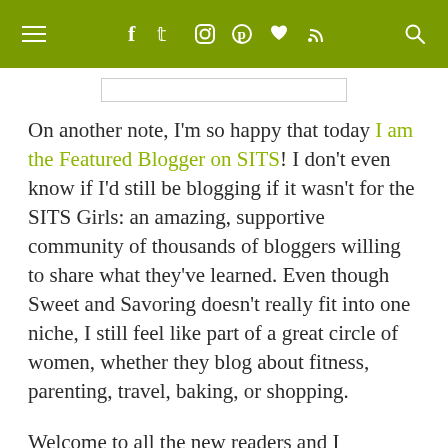Navigation bar with hamburger menu, social media icons (Facebook, Twitter, Instagram, Pinterest, heart/Bloglovin, RSS), and search icon
[Figure (other): Partial image or banner placeholder at top of content area]
On another note, I'm so happy that today I am the Featured Blogger on SITS! I don't even know if I'd still be blogging if it wasn't for the SITS Girls: an amazing, supportive community of thousands of bloggers willing to share what they've learned. Even though Sweet and Savoring doesn't really fit into one niche, I still feel like part of a great circle of women, whether they blog about fitness, parenting, travel, baking, or shopping.
Welcome to all the new readers and I